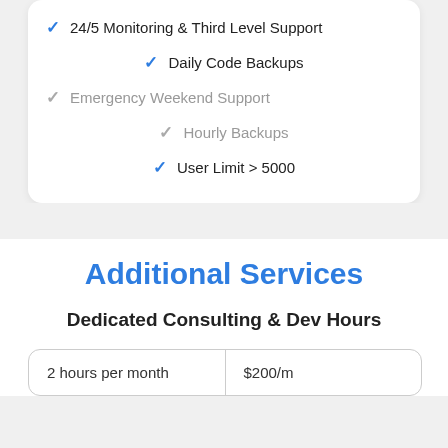✓ 24/5 Monitoring & Third Level Support
✓ Daily Code Backups
✓ Emergency Weekend Support
✓ Hourly Backups
✓ User Limit > 5000
Additional Services
Dedicated Consulting & Dev Hours
| 2 hours per month | $200/m |